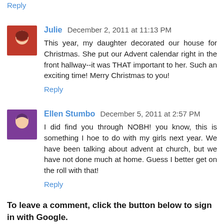Reply
Julie  December 2, 2011 at 11:13 PM
This year, my daughter decorated our house for Christmas. She put our Advent calendar right in the front hallway--it was THAT important to her. Such an exciting time! Merry Christmas to you!
Reply
Ellen Stumbo  December 5, 2011 at 2:57 PM
I did find you through NOBH! you know, this is something I hoe to do with my girls next year. We have been talking about advent at church, but we have not done much at home. Guess I better get on the roll with that!
Reply
To leave a comment, click the button below to sign in with Google.